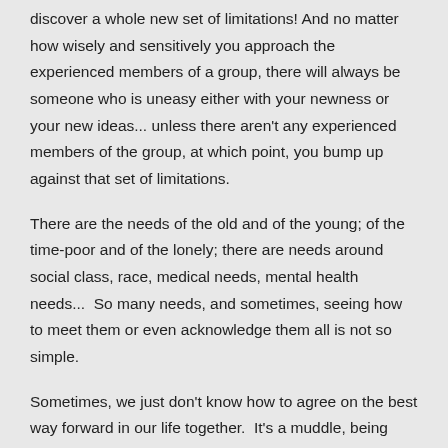discover a whole new set of limitations!  And no matter how wisely and sensitively you approach the experienced members of a group, there will always be someone who is uneasy either with your newness or your new ideas... unless there aren't any experienced members of the group, at which point, you bump up against that set of limitations.
There are the needs of the old and of the young; of the time-poor and of the lonely; there are needs around social class, race, medical needs, mental health needs...  So many needs, and sometimes, seeing how to meet them or even acknowledge them all is not so simple.
Sometimes, we just don't know how to agree on the best way forward in our life together.  It's a muddle, being human...